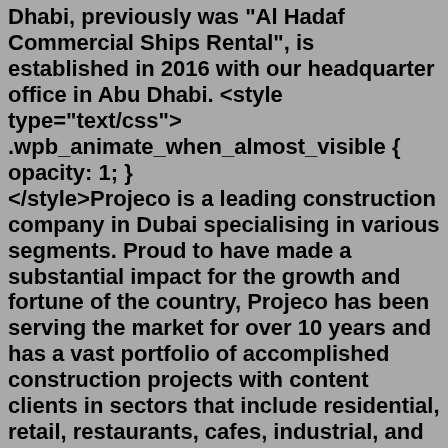Dhabi, previously was "Al Hadaf Commercial Ships Rental", is established in 2016 with our headquarter office in Abu Dhabi. <style type="text/css">.wpb_animate_when_almost_visible { opacity: 1; }</style>Projeco is a leading construction company in Dubai specialising in various segments. Proud to have made a substantial impact for the growth and fortune of the country, Projeco has been serving the market for over 10 years and has a vast portfolio of accomplished construction projects with content clients in sectors that include residential, retail, restaurants, cafes, industrial, and ...Why Choose Al Hareb Marine 1- Heritage and Reputation. Established in 1986 in Dubai, UAE; Al Hareb Marine has had earned a legendary reputation for building elegant coastal universal boats, developing great c... SOLAS Marine Services currently a diversified group of companies started its operations in the year 1988. It was first established in Sharjah, United Arab Emirates to meet the growing demands of professional services in the field of marine safety.